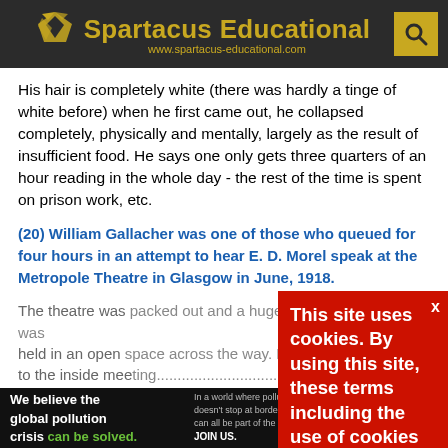Spartacus Educational — www.spartacus-educational.com
His hair is completely white (there was hardly a tinge of white before) when he first came out, he collapsed completely, physically and mentally, largely as the result of insufficient food. He says one only gets three quarters of an hour reading in the whole day - the rest of the time is spent on prison work, etc.
(20) William Gallacher was one of those who queued for four hours in an attempt to hear E. D. Morel speak at the Metropole Theatre in Glasgow in June, 1918.
The theatre was packed out and a huge overflow meeting was held in an open space across the way. Morel confined himself to the inside meeting... across the way, w... to lift the roof off... strength to do him honour.
This site uses cookies. By using this site, these terms including the use of cookies are accepted. More explanation can be found in our